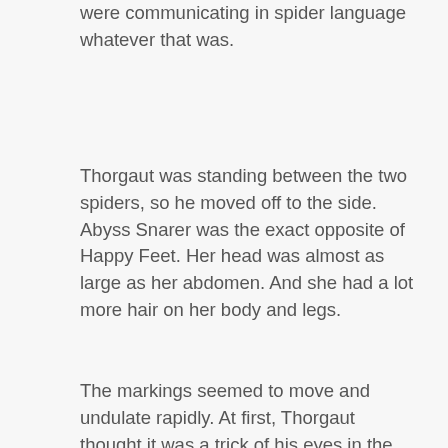abdomen at an angle. It looked like they were communicating in spider language whatever that was.
Thorgaut was standing between the two spiders, so he moved off to the side. Abyss Snarer was the exact opposite of Happy Feet. Her head was almost as large as her abdomen. And she had a lot more hair on her body and legs.
The markings seemed to move and undulate rapidly. At first, Thorgaut thought it was a trick of his eyes in the darkness. But as he watched he noticed it happen several more times.
He started to say something, but then decided against it. He didn't know what